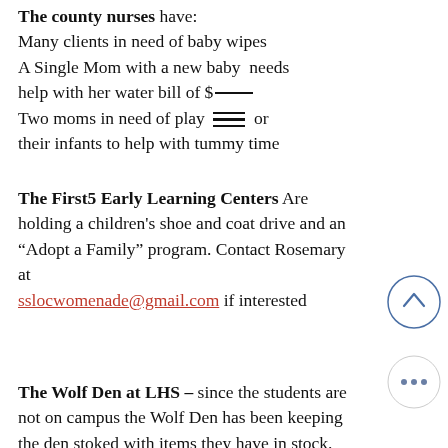The county nurses have: Many clients in need of baby wipes A Single Mom with a new baby needs help with her water bill of $[REDACTED] Two moms in need of play [mats] for their infants to help with tummy time
The First5 Early Learning Centers Are holding a children's shoe and coat drive and an "Adopt a Family" program. Contact Rosemary at sslocwomenade@gmail.com if interested
The Wolf Den at LHS – since the students are not on campus the Wolf Den has been keeping the den stocked with items they have in stock.